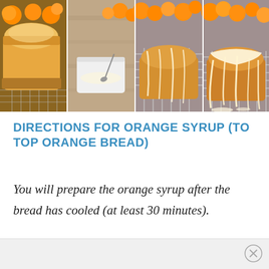[Figure (photo): A four-panel photo strip showing steps for making orange bread with syrup: (1) baked orange loaf bread, (2) white glaze/syrup in a bowl with a spoon, (3) syrup being drizzled over the loaf on a cooling rack with oranges in background, (4) finished glazed loaf on cooling rack with oranges]
DIRECTIONS FOR ORANGE SYRUP (TO TOP ORANGE BREAD)
You will prepare the orange syrup after the bread has cooled (at least 30 minutes).